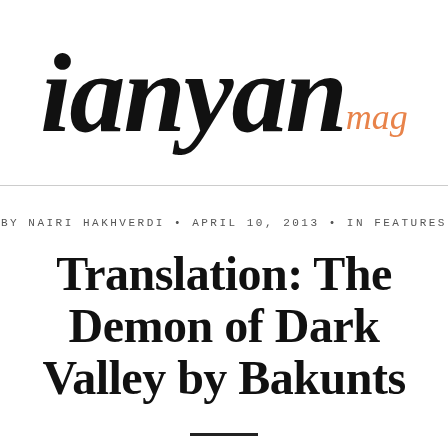ianyan mag
BY NAIRI HAKHVERDI • APRIL 10, 2013 • IN FEATURES
Translation: The Demon of Dark Valley by Bakunts